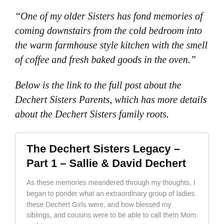“One of my older Sisters has fond memories of coming downstairs from the cold bedroom into the warm farmhouse style kitchen with the smell of coffee and fresh baked goods in the oven.”
Below is the link to the full post about the Dechert Sisters Parents, which has more details about the Dechert Sisters family roots.
The Dechert Sisters Legacy – Part 1 – Sallie & David Dechert
As these memories meandered through my thoughts, I began to ponder what an extraordinary group of ladies these Dechert Girls were, and how blessed my siblings, and cousins were to be able to call them Mom and Aunt.